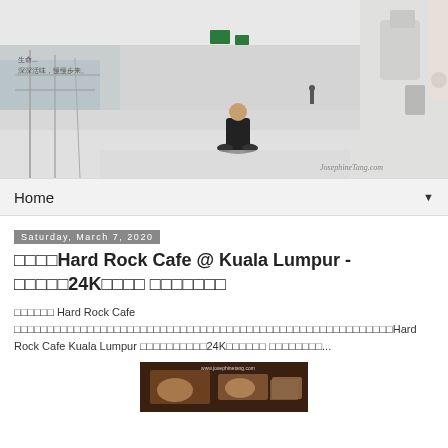[Figure (photo): Wide photo of a ship deck corridor with white walls and railings. A person dressed in black sits cross-legged on the floor in the center. The corridor stretches into the distance. Watermark reads JosephineTang.com. Chinese text overlay in top-left corner.]
Home ▼
Saturday, March 7, 2020
□□□□Hard Rock Cafe @ Kuala Lumpur - □□□□□24K□□□□ □□□□□□□
□□□□□□ Hard Rock Cafe □□□□□□□□□□□□□□□□□□□□□□□□□□□□□□□□□□□□□□□□□□□□□□□□□□□□□□□□□Hard Rock Cafe Kuala Lumpur □□□□□□□□□□24K□□□□□□ □□□□□□□□...
[Figure (photo): Partial thumbnail image of food/dishes at Hard Rock Cafe Kuala Lumpur, with a website URL overlay.]